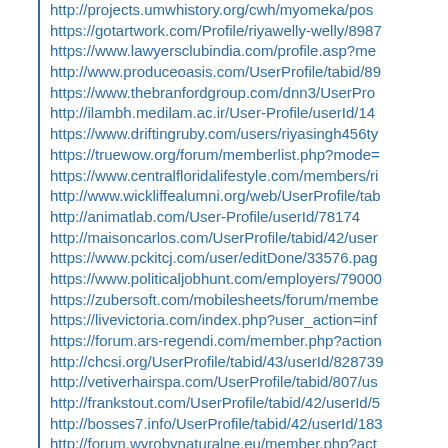http://projects.umwhistory.org/cwh/myomeka/pos
https://gotartwork.com/Profile/riyawelly-welly/8987
https://www.lawyersclubindia.com/profile.asp?me
http://www.produceoasis.com/UserProfile/tabid/89
https://www.thebranfordgroup.com/dnn3/UserPro
http://ilambh.medilam.ac.ir/User-Profile/userId/14
https://www.driftingruby.com/users/riyasingh456ty
https://truewow.org/forum/memberlist.php?mode=
https://www.centralfloridalifestyle.com/members/ri
http://www.wickliffealumni.org/web/UserProfile/tab
http://animatlab.com/User-Profile/userId/78174
http://maisoncarlos.com/UserProfile/tabid/42/user
https://www.pckitcj.com/user/editDone/33576.pag
https://www.politicaljobhunt.com/employers/79000
https://zubersoft.com/mobilesheets/forum/membe
https://livevictoria.com/index.php?user_action=inf
https://forum.ars-regendi.com/member.php?action
http://chcsi.org/UserProfile/tabid/43/userId/828739
http://vetiverhairspa.com/UserProfile/tabid/807/us
http://frankstout.com/UserProfile/tabid/42/userId/5
http://bosses7.info/UserProfile/tabid/42/userId/183
http://forum.wyrobynaturalne.eu/member.php?act
https://kingdomsofarcania.net/forum/member.php
https://www.businesslistings.net.au/calendar/noid
https://artmight.com/user/profile/176221